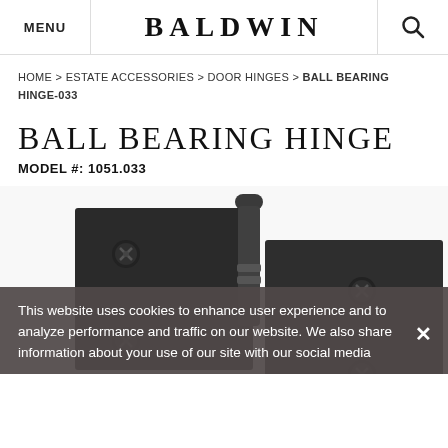MENU | BALDWIN | 🔍
HOME > ESTATE ACCESSORIES > DOOR HINGES > BALL BEARING HINGE-033
BALL BEARING HINGE
MODEL #: 1051.033
[Figure (photo): Close-up photo of a matte black ball bearing door hinge with two square plates and a cylindrical barrel, showing Phillips head screws on each plate corner.]
This website uses cookies to enhance user experience and to analyze performance and traffic on our website. We also share information about your use of our site with our social media